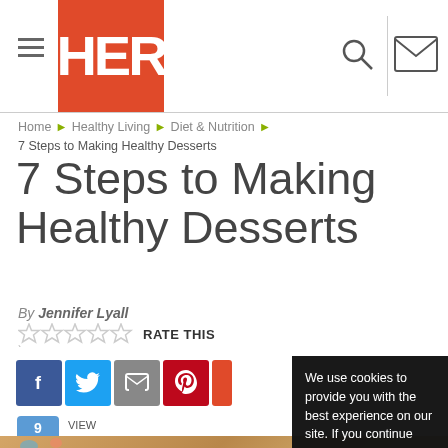HER
Home ▶ Healthy Living ▶ Diet & Nutrition ▶
7 Steps to Making Healthy Desserts
7 Steps to Making Healthy Desserts
By Jennifer Lyall
☆ ☆ ☆ ☆ ☆ RATE THIS
[Figure (screenshot): Social media share buttons: Facebook, Twitter, Email, Pinterest, More]
9 VIEW COMMENTS
[Figure (photo): Cookies/dessert photo in background]
We use cookies to provide you with the best experience on our site. If you continue using EmpowHER we will assume that you are happy to receive cookies. Learn more
Got it!